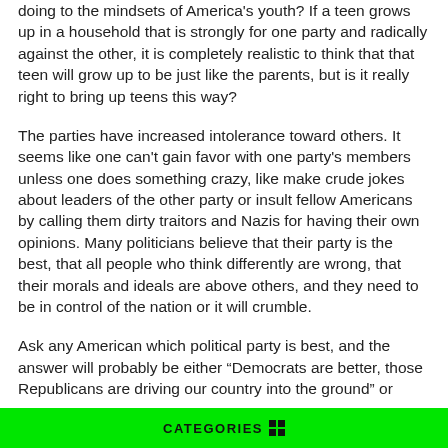doing to the mindsets of America's youth? If a teen grows up in a household that is strongly for one party and radically against the other, it is completely realistic to think that that teen will grow up to be just like the parents, but is it really right to bring up teens this way?
The parties have increased intolerance toward others. It seems like one can't gain favor with one party's members unless one does something crazy, like make crude jokes about leaders of the other party or insult fellow Americans by calling them dirty traitors and Nazis for having their own opinions. Many politicians believe that their party is the best, that all people who think differently are wrong, that their morals and ideals are above others, and they need to be in control of the nation or it will crumble.
Ask any American which political party is best, and the answer will probably be either “Democrats are better, those Republicans are driving our country into the ground” or
CATEGORIES